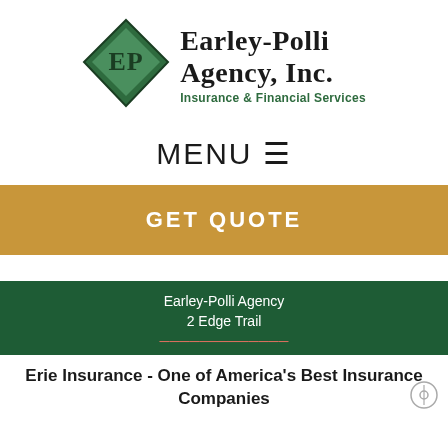[Figure (logo): Earley-Polli Agency, Inc. logo with green diamond shape containing EP initials, company name in serif bold, and tagline Insurance & Financial Services in green]
MENU ☰
GET QUOTE
Earley-Polli Agency
2 Edge Trail
Erie Insurance - One of America's Best Insurance Companies